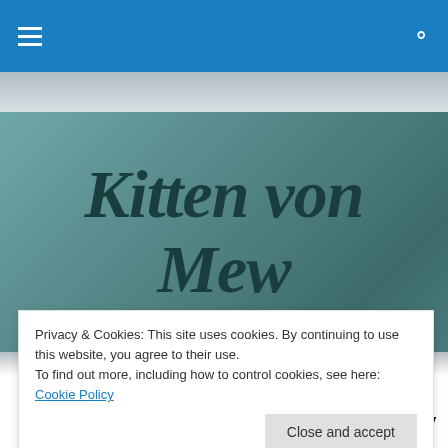Navigation bar with hamburger menu and search icon
[Figure (illustration): Blog logo banner with script text 'Kitten von Mew' on a teal/dark teal gradient background]
TAGGED WITH INN-DEPENANTS
Inn-Dependence Day 4th July
Privacy & Cookies: This site uses cookies. By continuing to use this website, you agree to their use.
To find out more, including how to control cookies, see here: Cookie Policy
are taking their first tentative steps back out into the world